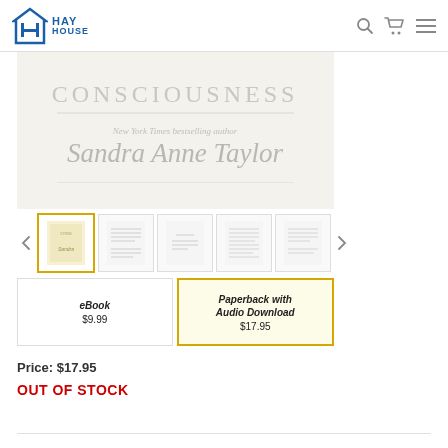Hay House
[Figure (photo): Book cover image showing text 'CONSCIOUSNESS' and author name 'Sandra Anne Taylor' in italic script on a light beige/cream background, partially visible with faded/washed out appearance]
[Figure (photo): Thumbnail strip showing 5 thumbnail images of book pages/content, with the first thumbnail selected (yellow border), showing the book cover]
eBook
$9.99
Paperback with Audio Download
$17.95
Price: $17.95
OUT OF STOCK